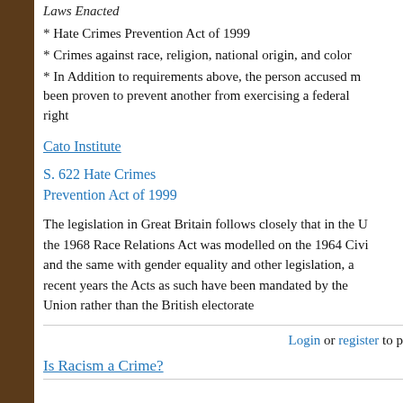Laws Enacted
* Hate Crimes Prevention Act of 1999
* Crimes against race, religion, national origin, and color
* In Addition to requirements above, the person accused must been proven to prevent another from exercising a federal right
Cato Institute
S. 622 Hate Crimes Prevention Act of 1999
The legislation in Great Britain follows closely that in the U the 1968 Race Relations Act was modelled on the 1964 Civi and the same with gender equality and other legislation, a recent years the Acts as such have been mandated by the Union rather than the British electorate
Login or register to p
Is Racism a Crime?